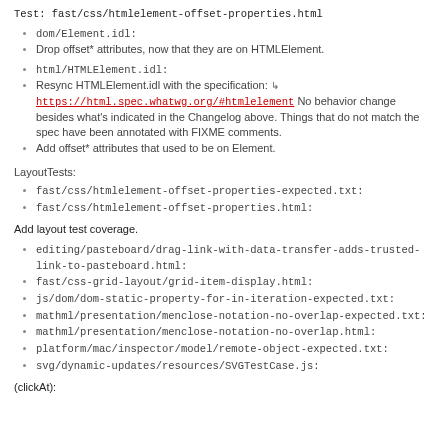Test: fast/css/htmlelement-offset-properties.html
dom/Element.idl:
Drop offset* attributes, now that they are on HTMLElement.
html/HTMLElement.idl:
Resync HTMLElement.idl with the specification: https://html.spec.whatwg.org/#htmlelement No behavior change besides what's indicated in the Changelog above. Things that do not match the spec have been annotated with FIXME comments.
Add offset* attributes that used to be on Element.
LayoutTests:
fast/css/htmlelement-offset-properties-expected.txt:
fast/css/htmlelement-offset-properties.html:
Add layout test coverage.
editing/pasteboard/drag-link-with-data-transfer-adds-trusted-link-to-pasteboard.html:
fast/css-grid-layout/grid-item-display.html:
js/dom/dom-static-property-for-in-iteration-expected.txt:
mathml/presentation/menclose-notation-no-overlap-expected.txt:
mathml/presentation/menclose-notation-no-overlap.html:
platform/mac/inspector/model/remote-object-expected.txt:
svg/dynamic-updates/resources/SVGTestCase.js:
(clickAt):